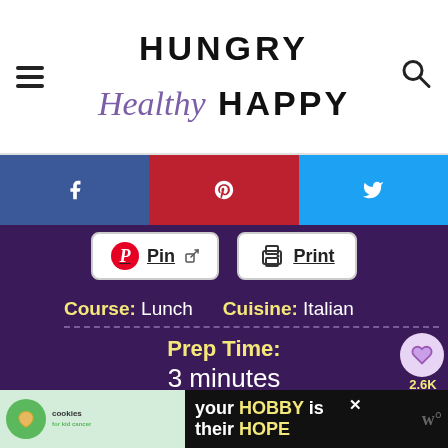Hungry Healthy Happy
[Figure (screenshot): Social share buttons: Facebook (blue), Pinterest (red), Twitter (light blue)]
[Figure (screenshot): Pin and Print action buttons]
Course: Lunch   Cuisine: Italian
Prep Time:
3 minutes
Cook Time:
32 minutes
[Figure (screenshot): Advertisement banner: cookies for kid cancer, your HOBBY is their HOPE]